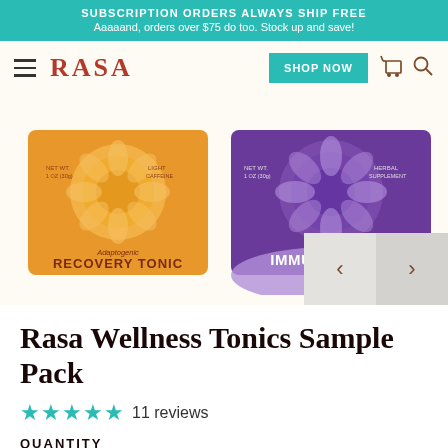SUBSCRIPTION ORDERS ALWAYS SHIP FREE
Aaaaand, orders over $75 do too. Stock up and save!
[Figure (screenshot): RASA brand navigation bar with hamburger menu, RASA logo in red, SHOP NOW teal button, cart and search icons]
[Figure (photo): Two product package mockups side by side: left is an orange Adaptogenic Recovery Tonic packet, right is a purple Adaptogenic Immune Tonic packet]
Rasa Wellness Tonics Sample Pack
★★★★½ 11 reviews
QUANTITY